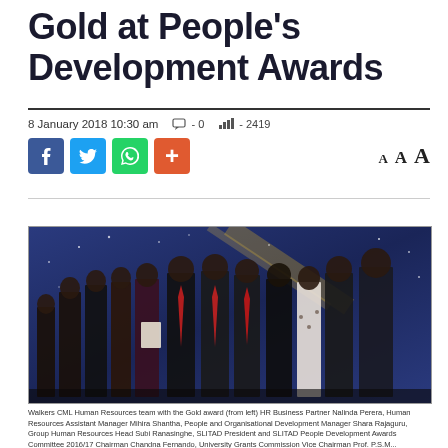Gold at People's Development Awards
8 January 2018 10:30 am  □ - 0  ▐▐ - 2419
[Figure (photo): Group photo of Walkers CML Human Resources team receiving the Gold award at People's Development Awards ceremony, posed in front of a blue starry backdrop.]
Walkers CML Human Resources team with the Gold award (from left) HR Business Partner Nalinda Perera, Human Resources Assistant Manager Mihira Shantha, People and Organisational Development Manager Shara Rajaguru, Group Human Resources Head Subi Ranasinghe, SLITAD President and SLITAD People Development Awards Committee 2016/17 Chairman Chandna Fernando, University Grants Commission Vice Chairman Prof. P.S.M...